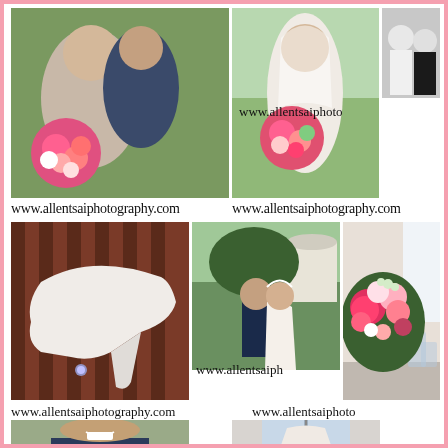[Figure (photo): Wedding couple embracing outdoors, bride with pink bouquet]
[Figure (photo): Bride holding large pink floral bouquet outdoors]
[Figure (photo): Black and white photo of two women]
www.allentsaiphoto
www.allentsaiphotography.com www.allentsaiphotography.com
[Figure (photo): White bridal heels on striped red/brown background]
[Figure (photo): Bride and groom kissing under tree outdoors]
[Figure (photo): Pink and white floral centerpiece arrangement]
www.allentsaiph
www.allentsaiphotography.com  www.allentsaiphoto
[Figure (photo): Groom smiling close-up portrait]
[Figure (photo): Wedding dress hanging in doorway/window]